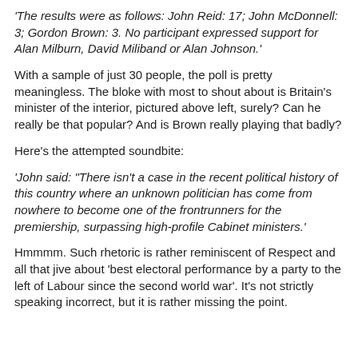'The results were as follows: John Reid: 17; John McDonnell: 3; Gordon Brown: 3. No participant expressed support for Alan Milburn, David Miliband or Alan Johnson.'
With a sample of just 30 people, the poll is pretty meaningless. The bloke with most to shout about is Britain's minister of the interior, pictured above left, surely? Can he really be that popular? And is Brown really playing that badly?
Here's the attempted soundbite:
'John said: "There isn't a case in the recent political history of this country where an unknown politician has come from nowhere to become one of the frontrunners for the premiership, surpassing high-profile Cabinet ministers.'
Hmmmm. Such rhetoric is rather reminiscent of Respect and all that jive about 'best electoral performance by a party to the left of Labour since the second world war'. It's not strictly speaking incorrect, but it is rather missing the point.